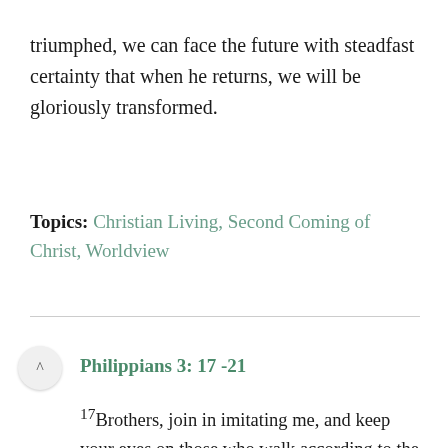triumphed, we can face the future with steadfast certainty that when he returns, we will be gloriously transformed.
Topics: Christian Living, Second Coming of Christ, Worldview
Philippians 3: 17 -21
17Brothers, join in imitating me, and keep your eyes on those who walk according to the example you have in us. 18For many, of whom I have often told you and now tell you even with tears, walk as enemies of